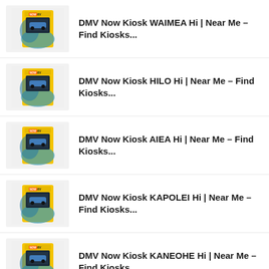DMV Now Kiosk WAIMEA Hi | Near Me – Find Kiosks...
DMV Now Kiosk HILO Hi | Near Me – Find Kiosks...
DMV Now Kiosk AIEA Hi | Near Me – Find Kiosks...
DMV Now Kiosk KAPOLEI Hi | Near Me – Find Kiosks...
DMV Now Kiosk KANEOHE Hi | Near Me – Find Kiosks...